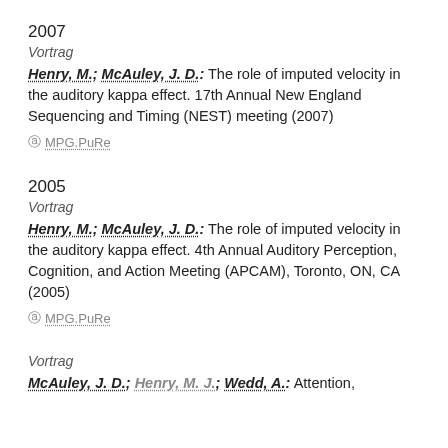2007
Vortrag
Henry, M.; McAuley, J. D.: The role of imputed velocity in the auditory kappa effect. 17th Annual New England Sequencing and Timing (NEST) meeting (2007)
⊘ MPG.PuRe
2005
Vortrag
Henry, M.; McAuley, J. D.: The role of imputed velocity in the auditory kappa effect. 4th Annual Auditory Perception, Cognition, and Action Meeting (APCAM), Toronto, ON, CA (2005)
⊘ MPG.PuRe
Vortrag
McAuley, J. D.; Henry, M. J.; Wedd, A.: Attention,